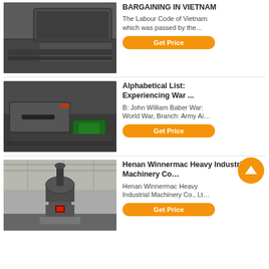[Figure (photo): Industrial heavy machinery (crushers) in a factory/outdoor setting, dark grey machines]
BARGAINING IN VIETNAM
The Labour Code of Vietnam which was passed by the…
Get Price
[Figure (photo): Industrial crusher/mill machine with red and black components and green motor, factory setting]
Alphabetical List: Experiencing War ...
B: John William Baber War: World War, Branch: Army Ai…
Get Price
[Figure (photo): Large industrial vertical grinding mill machine inside a factory warehouse]
Henan Winnermac Heavy Industrial Machinery Co…
Henan Winnermac Heavy Industrial Machinery Co., Lt…
Get Price